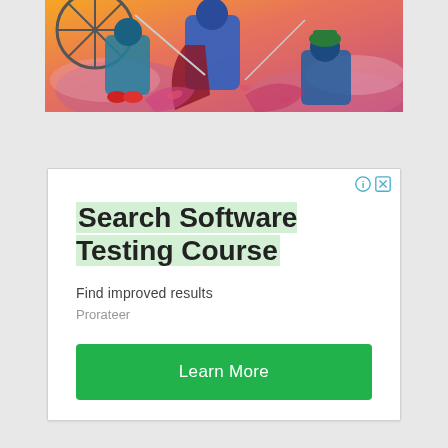[Figure (illustration): Colorful illustrated artwork showing anime/comic-style characters in dynamic action poses with blue, purple, orange and red tones against a stylized background.]
[Figure (infographic): Advertisement box for 'Search Software Testing Course' with headline text highlighted in light green, subtext 'Find improved results', brand name 'Prorateer', and a green 'Learn More' button. Has info (i) and close (x) icons in top right corner.]